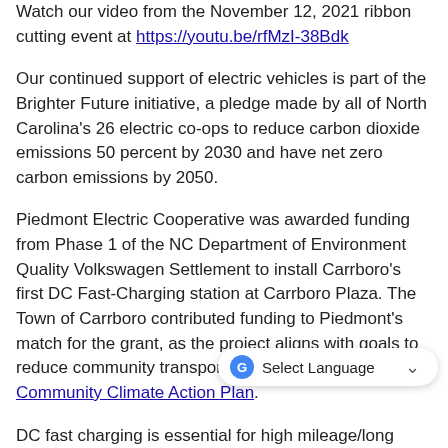Watch our video from the November 12, 2021 ribbon cutting event at https://youtu.be/rfMzI-38Bdk
Our continued support of electric vehicles is part of the Brighter Future initiative, a pledge made by all of North Carolina's 26 electric co-ops to reduce carbon dioxide emissions 50 percent by 2030 and have net zero carbon emissions by 2050.
Piedmont Electric Cooperative was awarded funding from Phase 1 of the NC Department of Environment Quality Volkswagen Settlement to install Carrboro's first DC Fast-Charging station at Carrboro Plaza. The Town of Carrboro contributed funding to Piedmont's match for the grant, as the project aligns with goals to reduce community transportation emissions in the Community Climate Action Plan.
DC fast charging is essential for high mileage/long distance driving and large fleets. The [overlay] enables drivers to recharge during their day or on a small break as opposed to being plugged in overnight, or for